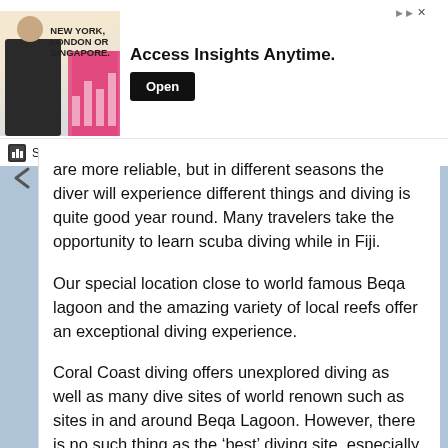[Figure (screenshot): Advertisement banner: image of a man with text 'NEW YORK, LONDON OR SINGAPORE.' and headline 'Access Insights Anytime.' with an 'Open' button. Brand: Sense Forth.]
are more reliable, but in different seasons the diver will experience different things and diving is quite good year round. Many travelers take the opportunity to learn scuba diving while in Fiji.
Our special location close to world famous Beqa lagoon and the amazing variety of local reefs offer an exceptional diving experience.
Coral Coast diving offers unexplored diving as well as many dive sites of world renown such as sites in and around Beqa Lagoon. However, there is no such thing as the 'best' diving site, especially